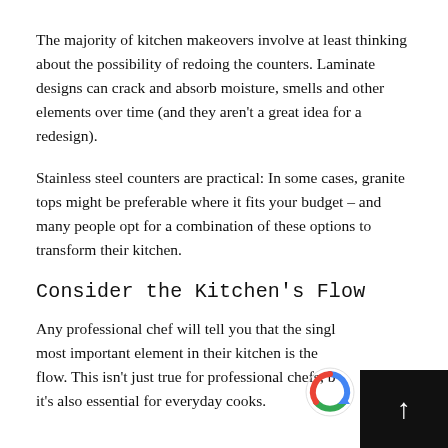The majority of kitchen makeovers involve at least thinking about the possibility of redoing the counters. Laminate designs can crack and absorb moisture, smells and other elements over time (and they aren't a great idea for a redesign).
Stainless steel counters are practical: In some cases, granite tops might be preferable where it fits your budget – and many people opt for a combination of these options to transform their kitchen.
Consider the Kitchen's Flow
Any professional chef will tell you that the single most important element in their kitchen is the flow. This isn't just true for professional chefs, b[cut off]